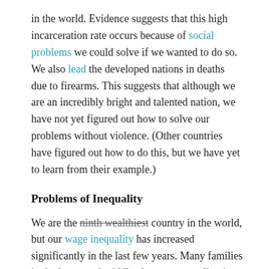in the world. Evidence suggests that this high incarceration rate occurs because of social problems we could solve if we wanted to do so. We also lead the developed nations in deaths due to firearms. This suggests that although we are an incredibly bright and talented nation, we have not yet figured out how to solve our problems without violence. (Other countries have figured out how to do this, but we have yet to learn from their example.)
Problems of Inequality
We are the ninth wealthiest country in the world, but our wage inequality has increased significantly in the last few years. Many families in the lower and middle class are struggling just to get by. A recent study by the Pew Research Center found that "the gap between